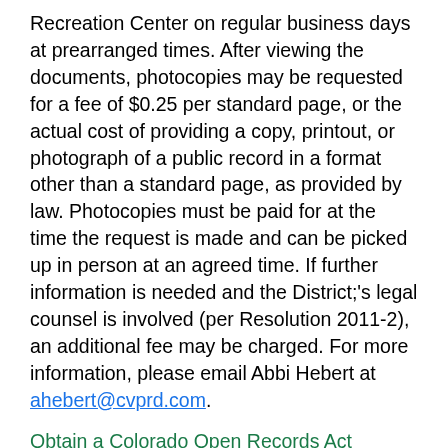Recreation Center on regular business days at prearranged times. After viewing the documents, photocopies may be requested for a fee of $0.25 per standard page, or the actual cost of providing a copy, printout, or photograph of a public record in a format other than a standard page, as provided by law. Photocopies must be paid for at the time the request is made and can be picked up in person at an agreed time. If further information is needed and the District;'s legal counsel is involved (per Resolution 2011-2), an additional fee may be charged. For more information, please email Abbi Hebert at ahebert@cvprd.com.
Obtain a Colorado Open Records Act (CORA) form if documentation is not available on the website.
Record Availability
If records are available pursuant C.R.S. 24-72-201 et